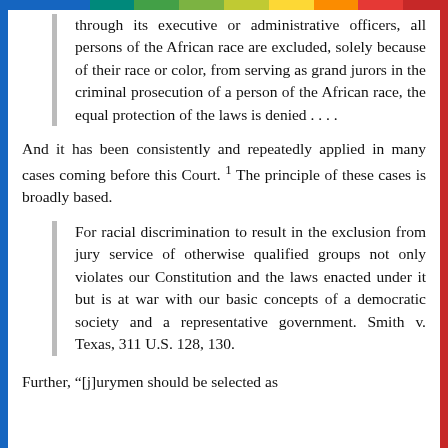through its executive or administrative officers, all persons of the African race are excluded, solely because of their race or color, from serving as grand jurors in the criminal prosecution of a person of the African race, the equal protection of the laws is denied . . . .
And it has been consistently and repeatedly applied in many cases coming before this Court. 1 The principle of these cases is broadly based.
For racial discrimination to result in the exclusion from jury service of otherwise qualified groups not only violates our Constitution and the laws enacted under it but is at war with our basic concepts of a democratic society and a representative government. Smith v. Texas, 311 U.S. 128, 130.
Further, "[j]urymen should be selected as